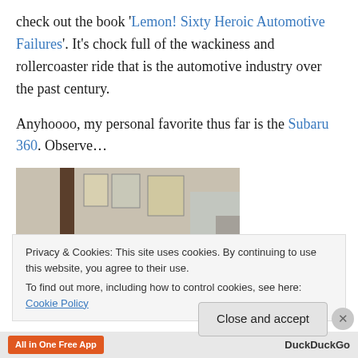check out the book 'Lemon! Sixty Heroic Automotive Failures'.  It's chock full of the wackiness and rollercoaster ride that is the automotive industry over the past century.
Anyhoooo, my personal favorite thus far is the Subaru 360.  Observe…
[Figure (photo): Interior of a garage or automotive museum showing small vintage cars including what appears to be a Subaru 360 (light gray/cream colored microcar) in the foreground, with other vintage cars visible in the background.]
Privacy & Cookies: This site uses cookies. By continuing to use this website, you agree to their use.
To find out more, including how to control cookies, see here: Cookie Policy
Close and accept